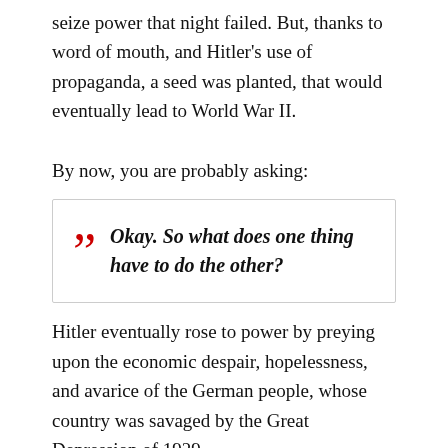seize power that night failed. But, thanks to word of mouth, and Hitler's use of propaganda, a seed was planted, that would eventually lead to World War II.
By now, you are probably asking:
Okay. So what does one thing have to do the other?
Hitler eventually rose to power by preying upon the economic despair, hopelessness, and avarice of the German people, whose country was savaged by the Great Depression of 1929.